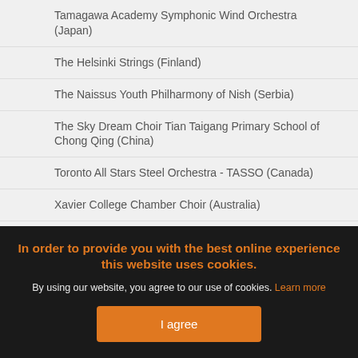Tamagawa Academy Symphonic Wind Orchestra (Japan)
The Helsinki Strings (Finland)
The Naissus Youth Philharmony of Nish (Serbia)
The Sky Dream Choir Tian Taigang Primary School of Chong Qing (China)
Toronto All Stars Steel Orchestra - TASSO (Canada)
Xavier College Chamber Choir (Australia)
Xavier College String Orchestra (Australia)
Zhuhai Wenyuan Middle School Cerulean Youth (partially visible)
In order to provide you with the best online experience this website uses cookies.
By using our website, you agree to our use of cookies. Learn more
I agree